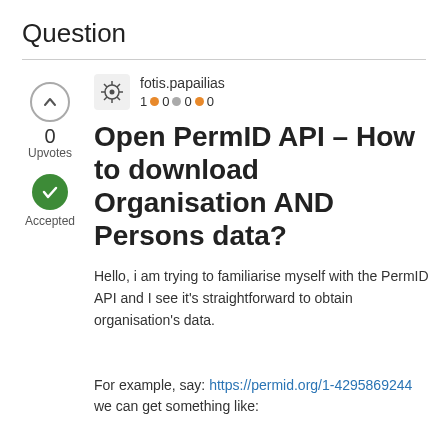Question
fotis.papailias
1 ● 0 ● 0 ● 0
Open PermID API - How to download Organisation AND Persons data?
Hello, i am trying to familiarise myself with the PermID API and I see it's straightforward to obtain organisation's data.

For example, say: https://permid.org/1-4295869244 we can get something like: